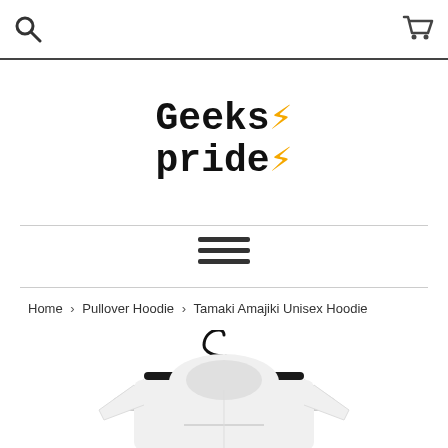Search | Geeks Pride | Cart
[Figure (logo): Geeks Pride logo with yellow lightning bolt]
[Figure (other): Hamburger menu icon (three horizontal lines)]
Home › Pullover Hoodie › Tamaki Amajiki Unisex Hoodie
[Figure (photo): White unisex hoodie on a black hanger against white background]